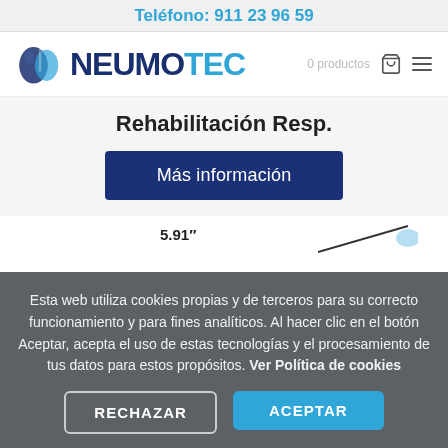Teléfono: 911 23 96 59
[Figure (logo): Neumotec logo with lung icon and text NEUMOTEC, with navigation icons (cart, hamburger menu)]
Rehabilitación Resp.
Más información
5.91"
Esta web utiliza cookies propias y de terceros para su correcto funcionamiento y para fines analíticos. Al hacer clic en el botón Aceptar, acepta el uso de estas tecnologías y el procesamiento de tus datos para estos propósitos. Ver Política de cookies
RECHAZAR
ACEPTAR